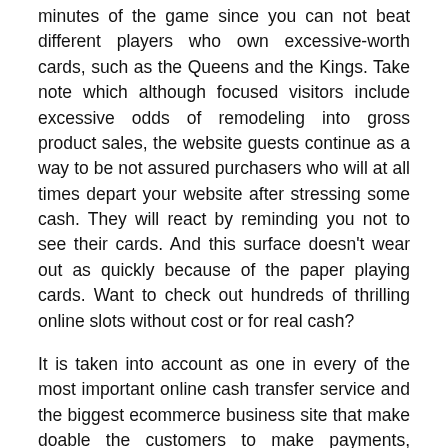minutes of the game since you can not beat different players who own excessive-worth cards, such as the Queens and the Kings. Take note which although focused visitors include excessive odds of remodeling into gross product sales, the website guests continue as a way to be not assured purchasers who will at all times depart your website after stressing some cash. They will react by reminding you not to see their cards. And this surface doesn't wear out as quickly because of the paper playing cards. Want to check out hundreds of thrilling online slots without cost or for real cash?
It is taken into account as one in every of the most important online cash transfer service and the biggest ecommerce business site that make doable the customers to make payments, switch and receive money online with their PayPal account. I collectively put 18 of my handiest and easy-to-implement poker methods on this one web page. Now, you've got to learn the complete 15 fundamental and